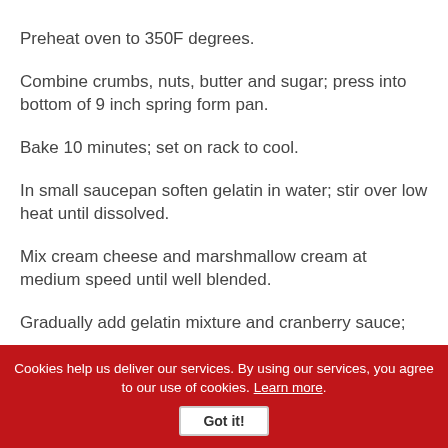Preheat oven to 350F degrees.
Combine crumbs, nuts, butter and sugar; press into bottom of 9 inch spring form pan.
Bake 10 minutes; set on rack to cool.
In small saucepan soften gelatin in water; stir over low heat until dissolved.
Mix cream cheese and marshmallow cream at medium speed until well blended.
Gradually add gelatin mixture and cranberry sauce;
Cookies help us deliver our services. By using our services, you agree to our use of cookies. Learn more. Got it!